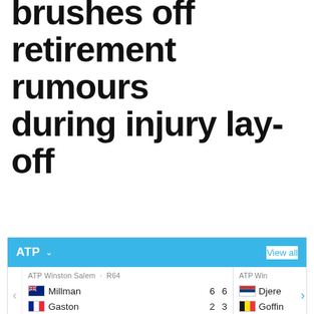brushes off retirement rumours during injury lay-off
[Figure (screenshot): ATP tennis widget showing ATP Winston Salem R64 match: Millman 6 6 vs Gaston 2 3, and partially visible ATP Winston Salem match with Djere vs Goffin. Powered by TNNSLIVE.COM. View all link on right.]
Share:
[Figure (infographic): Share buttons: Twitter (blue), Facebook (dark blue), WhatsApp (green), Email (dark grey). Share count: 0 Shares.]